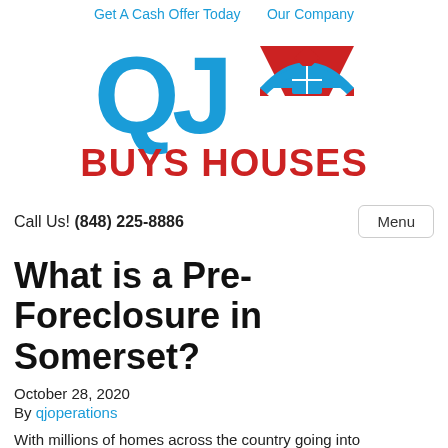Get A Cash Offer Today   Our Company
[Figure (logo): QJ Buys Houses logo — blue QJ letters with a house icon featuring a red roof and blue window, with red bold text BUYS HOUSES below]
Call Us! (848) 225-8886
What is a Pre-Foreclosure in Somerset?
October 28, 2020
By qjoperations
With millions of homes across the country going into foreclosure, this is one of the hottest topics in real estate.